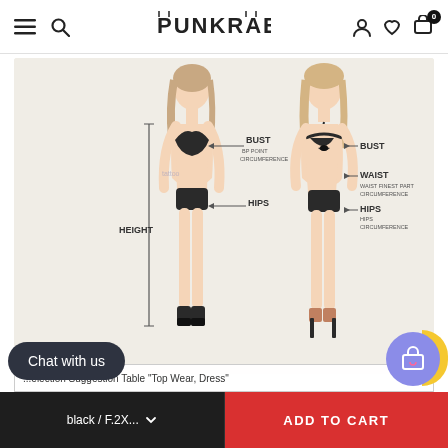PUNKRAE — navigation header with hamburger menu, search, logo, account, wishlist, and cart (0 items)
[Figure (illustration): Fashion size guide illustration showing two female figures in bikini — front view (left) and back view (right) with labeled measurement arrows: BUST / BP POINT CIRCUMFERENCE, WAIST / WAIST FINEST PART CIRCUMFERENCE, HIPS / HIPS CIRCUMFERENCE, HEIGHT. Background is off-white/cream.]
...election Suggestion Table "Top Wear, Dress"
Chat with us
black / F.2X...
ADD TO CART